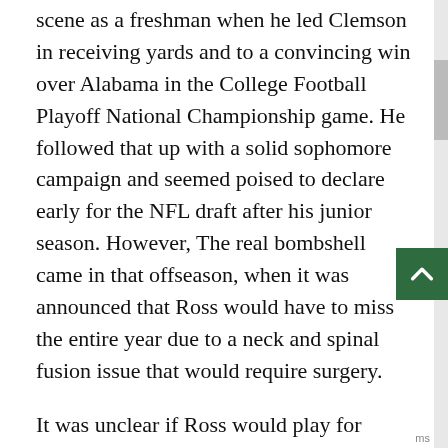scene as a freshman when he led Clemson in receiving yards and to a convincing win over Alabama in the College Football Playoff National Championship game. He followed that up with a solid sophomore campaign and seemed poised to declare early for the NFL draft after his junior season. However, The real bombshell came in that offseason, when it was announced that Ross would have to miss the entire year due to a neck and spinal fusion issue that would require surgery.
It was unclear if Ross would play for Clemson again but in 2021, he was given the go-ahead to return to the football field. However, he looked like a shadow of his former self, and if reports are to be believed, he played through the pain of additional injuries that sapped even more of his playing abilities. On top of all that, Ross had another surgery after the season to address the injuries he accrued in 2021.